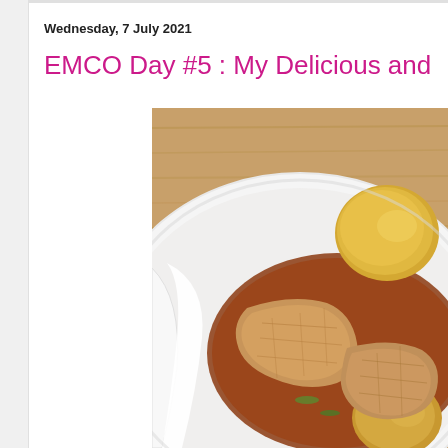Wednesday, 7 July 2021
EMCO Day #5 : My Delicious and Easy C
[Figure (photo): A white bowl containing a curry or stew dish with pieces of tofu, potatoes, and sauce, placed on a wooden surface. A white spoon or ladle is partially visible on the left side.]